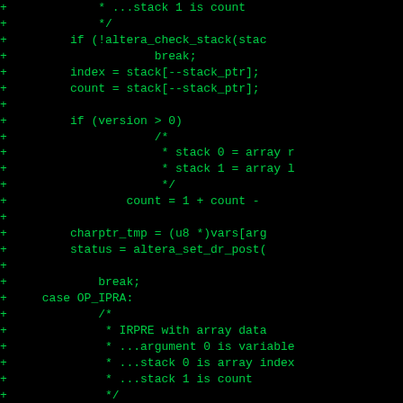[Figure (screenshot): Source code diff screenshot showing C code on black background with green monospace text. Lines prefixed with '+' showing additions. Code includes stack operations, version checks, OP_IPRA case handling, and function calls like altera_check_stack and altera_set_dr_post.]